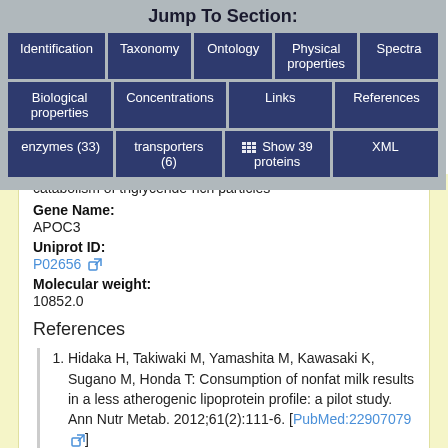Jump To Section:
| Identification | Taxonomy | Ontology | Physical properties | Spectra |
| Biological properties | Concentrations | Links | References |
| enzymes (33) | transporters (6) | Show 39 proteins | XML |
catabolism of triglyceride-rich particles
Gene Name:
APOC3
Uniprot ID:
P02656
Molecular weight:
10852.0
References
Hidaka H, Takiwaki M, Yamashita M, Kawasaki K, Sugano M, Honda T: Consumption of nonfat milk results in a less atherogenic lipoprotein profile: a pilot study. Ann Nutr Metab. 2012;61(2):111-6. [PubMed:22907079]